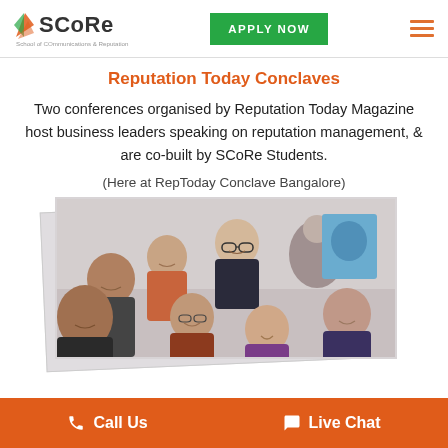SCoRe | School of COmmunications & Reputation | APPLY NOW
Reputation Today Conclaves
Two conferences organised by Reputation Today Magazine host business leaders speaking on reputation management, & are co-built by SCoRe Students.
(Here at RepToday Conclave Bangalore)
[Figure (photo): Group selfie photo of SCoRe students and a business leader at RepToday Conclave Bangalore]
Call Us   Live Chat